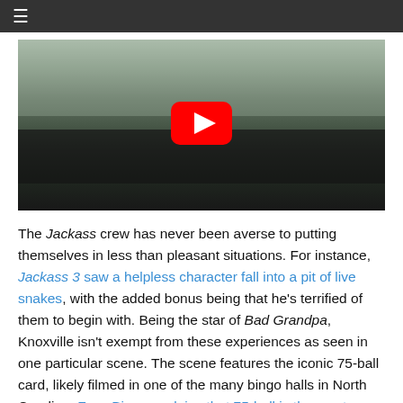☰
[Figure (screenshot): YouTube video thumbnail showing people sitting at tables in a bingo hall, with a YouTube play button overlay in the center.]
The Jackass crew has never been averse to putting themselves in less than pleasant situations. For instance, Jackass 3 saw a helpless character fall into a pit of live snakes, with the added bonus being that he's terrified of them to begin with. Being the star of Bad Grandpa, Knoxville isn't exempt from these experiences as seen in one particular scene. The scene features the iconic 75-ball card, likely filmed in one of the many bingo halls in North Carolina. Foxy Bingo explains that 75-ball is the most popular version of the game in America, where a